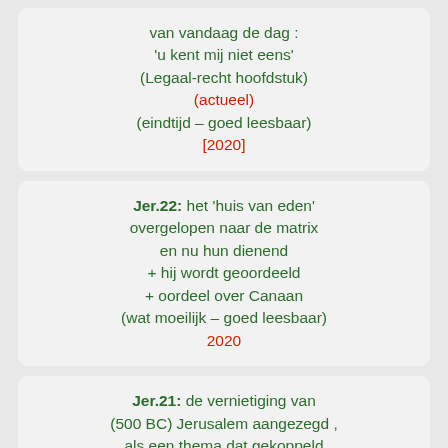van vandaag de dag :
'u kent mij niet eens'
(Legaal-recht hoofdstuk)
(actueel)
(eindtijd – goed leesbaar)
[2020]
Jer.22: het 'huis van eden' overgelopen naar de matrix en nu hun dienend + hij wordt geoordeeld + oordeel over Canaan (wat moeilijk – goed leesbaar) 2020
Jer.21: de vernietiging van (500 BC) Jerusalem aangezegd , als een thema dat gekoppeld is aan 'het huis eden'